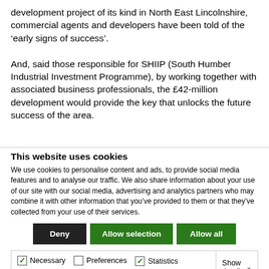development project of its kind in North East Lincolnshire, commercial agents and developers have been told of the ‘early signs of success’.

And, said those responsible for SHIIP (South Humber Industrial Investment Programme), by working together with associated business professionals, the £42-million development would provide the key that unlocks the future success of the area.
This website uses cookies
We use cookies to personalise content and ads, to provide social media features and to analyse our traffic. We also share information about your use of our site with our social media, advertising and analytics partners who may combine it with other information that you’ve provided to them or that they’ve collected from your use of their services.
Deny | Allow selection | Allow all
Necessary | Preferences | Statistics | Marketing | Show details